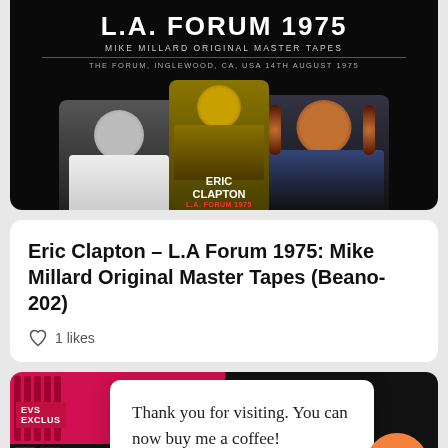[Figure (photo): Album cover for Eric Clapton L.A. Forum 1975, Mike Millard Original Master Tapes. Black background with text 'L.A. FORUM 1975', 'MIKE MILLARD ORIGINAL MASTER TAPES', 'THE FORUM, INGLEWOOD, CA, USA 14TH AUGUST 1975'. Shows three musicians: one on left in white, one in center in gold tones, one on right with long hair. Album art label overlay reads 'ERIC CLAPTON L.A. FORUM 1975'.]
Eric Clapton – L.A Forum 1975: Mike Millard Original Master Tapes (Beano-202)
1 likes
[Figure (photo): Partial view of another album. Left portion shows red/pink background with vertical stripes, 'EVS EXCLUS' label in red box, 'ORIGINAL RECORD' text in italic. Right portion shows dark background with gold/yellow text '160'. Bottom bar reads 'LETE PREVIOUSLY UNCIRCULATED MULTITRACK SOUNDBOARD'. A white popup overlay reads 'Thank you for visiting. You can now buy me a coffee!' with orange coffee cup button icon on the right.]